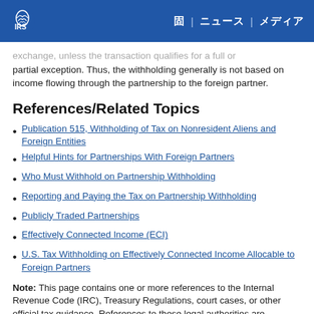IRS
exchange, unless the transaction qualifies for a full or partial exception. Thus, the withholding generally is not based on income flowing through the partnership to the foreign partner.
References/Related Topics
Publication 515, Withholding of Tax on Nonresident Aliens and Foreign Entities
Helpful Hints for Partnerships With Foreign Partners
Who Must Withhold on Partnership Withholding
Reporting and Paying the Tax on Partnership Withholding
Publicly Traded Partnerships
Effectively Connected Income (ECI)
U.S. Tax Withholding on Effectively Connected Income Allocable to Foreign Partners
Note: This page contains one or more references to the Internal Revenue Code (IRC), Treasury Regulations, court cases, or other official tax guidance. References to these legal authorities are included for the convenience of those who